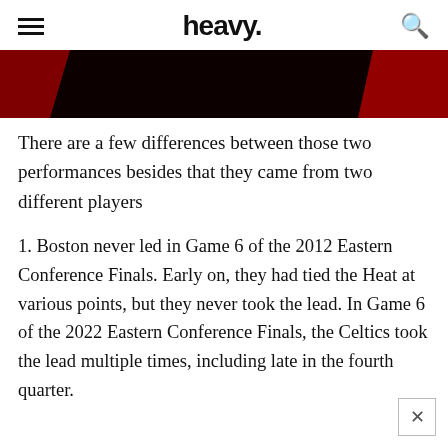heavy.
[Figure (photo): Partial image strip showing dark background with red accents, appears to be a basketball-related photo cropped at the top of the page]
There are a few differences between those two performances besides that they came from two different players
1. Boston never led in Game 6 of the 2012 Eastern Conference Finals. Early on, they had tied the Heat at various points, but they never took the lead. In Game 6 of the 2022 Eastern Conference Finals, the Celtics took the lead multiple times, including late in the fourth quarter.